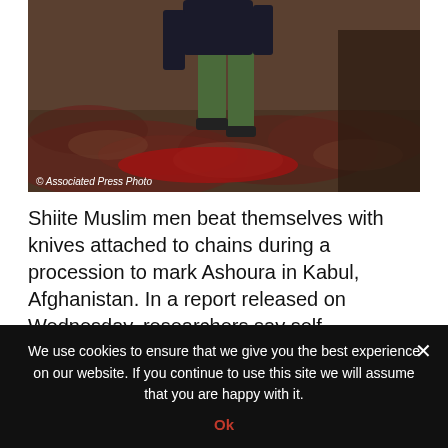[Figure (photo): Shiite Muslim men during Ashoura procession in Kabul, Afghanistan. A person in green pants and dark top is visible walking on a red and brown ground.]
© Associated Press Photo
Shiite Muslim men beat themselves with knives attached to chains during a procession to mark Ashoura in Kabul, Afghanistan. In a report released on Wednesday, researchers say self-flagellation should be added to the list of ways to spread a dangerous viral blood infection
She is one of the authors of the study released Wednesday, that was published by the US Centers of
We use cookies to ensure that we give you the best experience on our website. If you continue to use this site we will assume that you are happy with it.
Ok